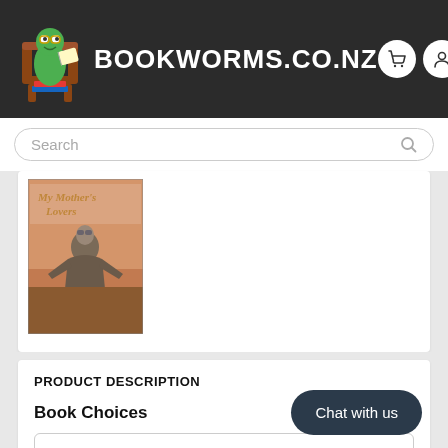BOOKWORMS.CO.NZ
Search
[Figure (photo): Book cover of 'My Mother's Lovers' showing a person in aviator gear against a reddish background]
PRODUCT DESCRIPTION
Book Choices
Condition: Very Good (6129-1)
Chat with us